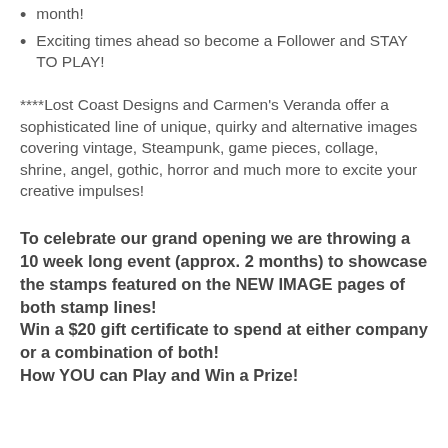month!
Exciting times ahead so become a Follower and STAY TO PLAY!
****Lost Coast Designs and Carmen's Veranda offer a sophisticated line of unique, quirky and alternative images covering vintage, Steampunk, game pieces, collage, shrine, angel, gothic, horror and much more to excite your creative impulses!
To celebrate our grand opening we are throwing a 10 week long event (approx. 2 months) to showcase the stamps featured on the NEW IMAGE pages of both stamp lines!
Win a $20 gift certificate to spend at either company or a combination of both!
How YOU can Play and Win a Prize!